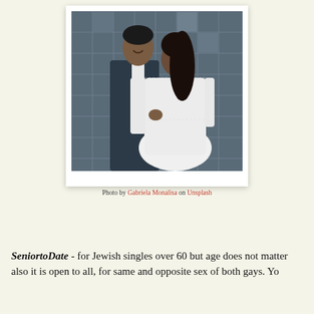[Figure (photo): A couple in wedding attire facing each other closely, about to kiss. The man wears a dark suit and the woman wears a white lace dress. Background is a tiled glass block wall.]
Photo by Gabriela Monalisa on Unsplash
SeniortoDate - for Jewish singles over 60 but age does not matter also it is open to all, for same and opposite sex of both gays. You